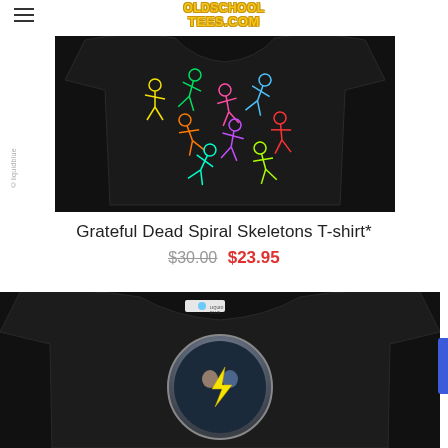OldSchoolTees.com
[Figure (photo): Black t-shirt with colorful neon Grateful Dead dancing skeletons spiral graphic on front]
©liquidblue
Grateful Dead Spiral Skeletons T-shirt*
$30.00 $23.95
[Figure (photo): Black t-shirt back view showing Grateful Dead lightning bolt skull circle graphic with Liquid Blue logo tag at collar]